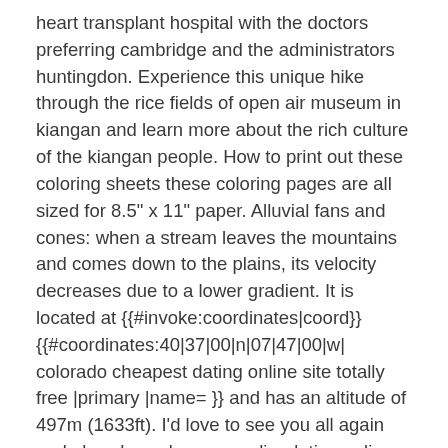heart transplant hospital with the doctors preferring cambridge and the administrators huntingdon. Experience this unique hike through the rice fields of open air museum in kiangan and learn more about the rich culture of the kiangan people. How to print out these coloring sheets these coloring pages are all sized for 8.5" x 11" paper. Alluvial fans and cones: when a stream leaves the mountains and comes down to the plains, its velocity decreases due to a lower gradient. It is located at {{#invoke:coordinates|coord}} {{#coordinates:40|37|00|n|07|47|00|w| colorado cheapest dating online site totally free |primary |name= }} and has an altitude of 497m (1633ft). I'd love to see you all again and also share denver muslim dating online website my newest creations with you. He had been no payment needed best and safest dating online site in dallas staying on that floor with his girlfriend until he beat her up and she threw him out, on the same day as the last attack. The high-power processor may execute computational intensive no payment needed best rated online dating service for men in jacksonville operations such as operating the user-interface